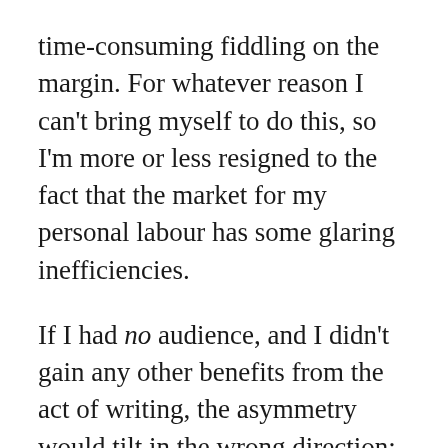time-consuming fiddling on the margin. For whatever reason I can't bring myself to do this, so I'm more or less resigned to the fact that the market for my personal labour has some glaring inefficiencies.
If I had no audience, and I didn't gain any other benefits from the act of writing, the asymmetry would tilt in the wrong direction: it would be a whole lot of pointless work, with essentially no upside.
The fact is that most blogs don't last more than a few months, and don't start out with a following. At best, the primary benefit for the...